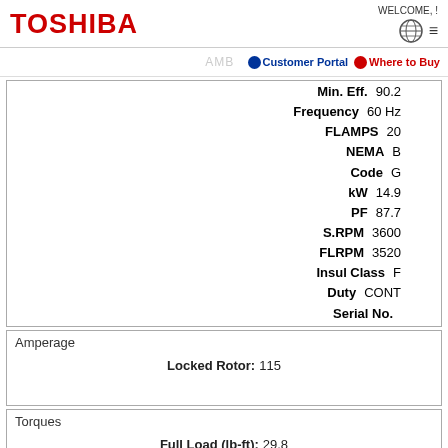TOSHIBA | WELCOME, !
AMB... | Customer Portal | Where to Buy
| Field | Value |
| --- | --- |
| Min. Eff. | 90.2 |
| Frequency | 60 Hz |
| FLAMPS | 20 |
| NEMA | B |
| Code | G |
| kW | 14.9 |
| PF | 87.7 |
| S.RPM | 3600 |
| FLRPM | 3520 |
| Insul Class | F |
| Duty | CONT |
| Serial No. |  |
Amperage
Locked Rotor: 115
Torques
Full Load (lb-ft): 29.8